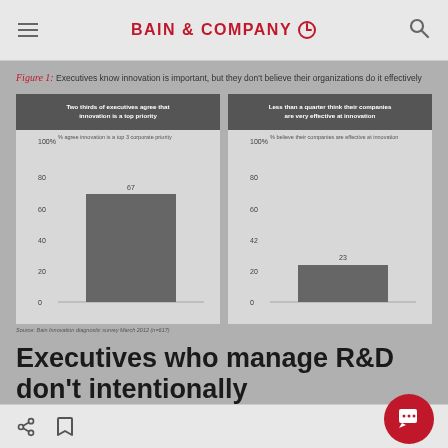BAIN & COMPANY
Figure 1: Executives know innovation is important, but they don't believe their organizations do it effectively
[Figure (bar-chart): Two thirds of executives agree that innovation is a top priority]
[Figure (bar-chart): Less than a quarter think their companies are very effective at innovation]
Source: Bain Innovation diagnostic survey March 2012 (n=617)
Executives who manage R&D don't intentionally